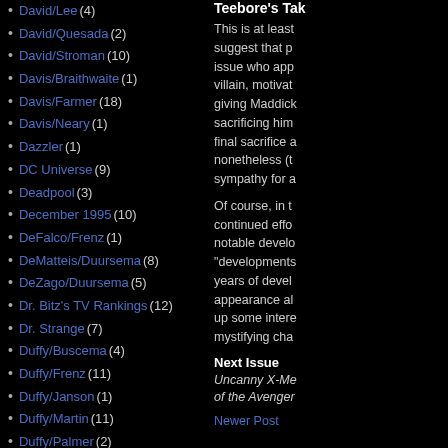David/Lee (4)
David/Quesada (2)
David/Stroman (10)
Davis/Braithwaite (1)
Davis/Farmer (18)
Davis/Neary (1)
Dazzler (1)
DC Universe (9)
Deadpool (3)
December 1995 (10)
DeFalco/Frenz (1)
DeMatteis/Duursema (8)
DeZago/Duursema (5)
Dr. Bitz's TV Rankings (12)
Dr. Strange (7)
Duffy/Buscema (4)
Duffy/Frenz (11)
Duffy/Janson (1)
Duffy/Martin (11)
Duffy/Palmer (2)
Ellis/Jones (8)
Ellis/Lashley (9)
Teebore's Take
This is at least suggest that p issue who app villain, motivat giving Maddick sacrificing him final sacrifice a nonetheless (t sympathy for a
Of course, in t continued effo notable develo "developments years of devel appearance al up some intere mystifying cha
Next Issue
Uncanny X-Me of the Avenger
Newer Post